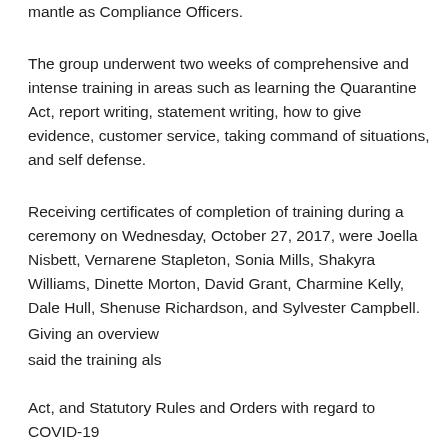mantle as Compliance Officers.
The group underwent two weeks of comprehensive and intense training in areas such as learning the Quarantine Act, report writing, statement writing, how to give evidence, customer service, taking command of situations, and self defense.
Receiving certificates of completion of training during a ceremony on Wednesday, October 27, 2017, were Joella Nisbett, Vernarene Stapleton, Sonia Mills, Shakyra Williams, Dinette Morton, David Grant, Charmine Kelly, Dale Hull, Shenuse Richardson, and Sylvester Campbell.
Giving an overview said the training als Act, and Statutory Rules and Orders with regard to COVID-19
[Figure (screenshot): Audio/media player bar with play button, replay 10s, volume, time display 00:00 / 00:00, and OPEN IN NEW WINDOW link on black bar below]